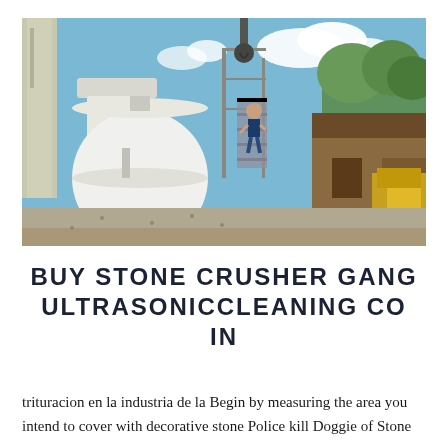[Figure (photo): Outdoor industrial scene showing large white cylindrical equipment (possibly a dust collector or cyclone separator) with a blue/teal base in the foreground. In the background, a person stands on metal scaffolding/stairs under a blue sky with clouds. A wooden shed structure and yellow heavy machinery are visible on the right.]
BUY STONE CRUSHER GANG ULTRASONICCLEANING CO IN
trituracion en la industria de la Begin by measuring the area you intend to cover with decorative stone Police kill Doggie of Stone